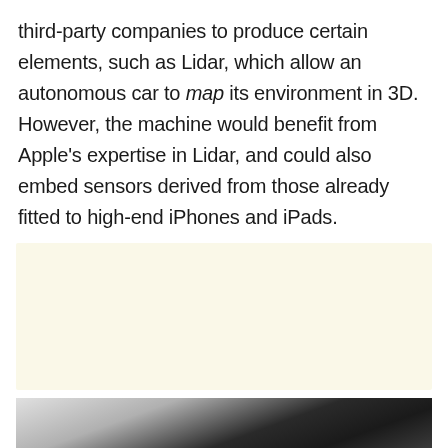third-party companies to produce certain elements, such as Lidar, which allow an autonomous car to map its environment in 3D. However, the machine would benefit from Apple's expertise in Lidar, and could also embed sensors derived from those already fitted to high-end iPhones and iPads.
[Figure (other): Advertisement placeholder block with light cream/yellow background]
[Figure (photo): Partial photograph of a sleek black and silver car roof or vehicle body panel against a grey background]